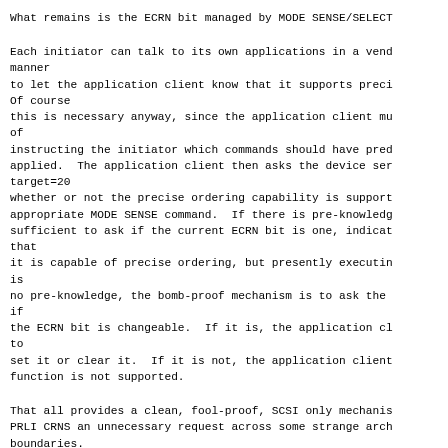What remains is the ECRN bit managed by MODE SENSE/SELECT
Each initiator can talk to its own applications in a vendor
manner
to let the application client know that it supports preci
Of course
this is necessary anyway, since the application client mu
of
instructing the initiator which commands should have prec
applied.  The application client then asks the device ser
target=20
whether or not the precise ordering capability is support
appropriate MODE SENSE command.  If there is pre-knowledg
sufficient to ask if the current ECRN bit is one, indicat
that
it is capable of precise ordering, but presently executin
is
no pre-knowledge, the bomb-proof mechanism is to ask the
if
the ECRN bit is changeable.  If it is, the application cl
to
set it or clear it.  If it is not, the application client
function is not supported.
That all provides a clean, fool-proof, SCSI only mechanis
PRLI CRNS an unnecessary request across some strange arch
boundaries.